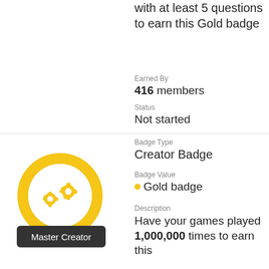with at least 5 questions to earn this Gold badge
Earned By
416 members
Status
Not started
[Figure (illustration): Master Creator badge icon — yellow circular ring with two gear icons inside, dark tooltip below reading 'Master Creator']
Badge Type
Creator Badge
Badge Value
Gold badge
Description
Have your games played 1,000,000 times to earn this